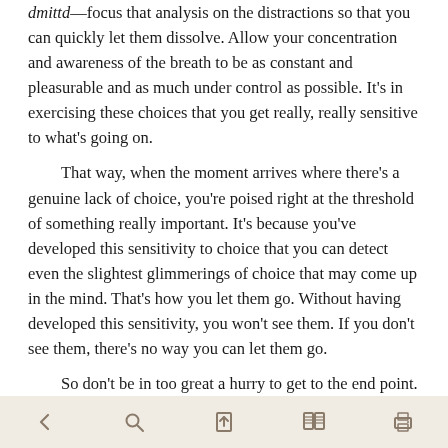dmittd—focus that analysis on the distractions so that you can quickly let them dissolve. Allow your concentration and awareness of the breath to be as constant and pleasurable and as much under control as possible. It's in exercising these choices that you get really, really sensitive to what's going on.
That way, when the moment arrives where there's a genuine lack of choice, you're poised right at the threshold of something really important. It's because you've developed this sensitivity to choice that you can detect even the slightest glimmerings of choice that may come up in the mind. That's how you let them go. Without having developed this sensitivity, you won't see them. If you don't see them, there's no way you can let them go.
So don't be in too great a hurry to get to the end point. What you should be focusing on right now is making sure you've got the basic choices down pat, over and over and over again. This requires patience. Everybody, of course, would like to go straight to the end, but you can't go to the end until you've grown really sensitive to the basics:
[navigation icons: back, search, bookmark-up, book, print]